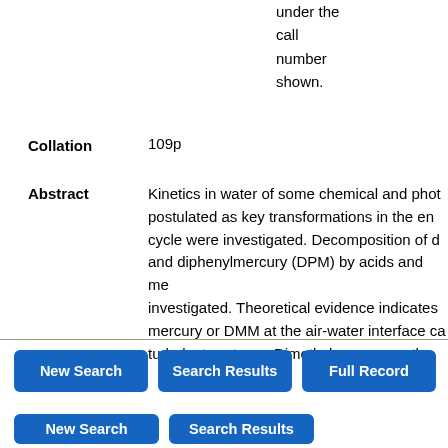under the call number shown.
Collation	109p
Abstract	Kinetics in water of some chemical and phot... postulated as key transformations in the en... cycle were investigated. Decomposition of d... and diphenylmercury (DPM) by acids and me... investigated. Theoretical evidence indicates mercury or DMM at the air-water interface ca... turbulent systems. Dimethylmercury methy...
New Search
Search Results
Full Record